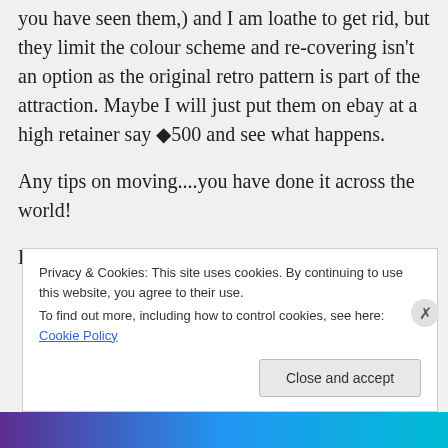you have seen them,) and I am loathe to get rid, but they limit the colour scheme and re-covering isn't an option as the original retro pattern is part of the attraction. Maybe I will just put them on ebay at a high retainer say £500 and see what happens.
Any tips on moving....you have done it across the world!
Love Denise
Privacy & Cookies: This site uses cookies. By continuing to use this website, you agree to their use. To find out more, including how to control cookies, see here: Cookie Policy
Close and accept